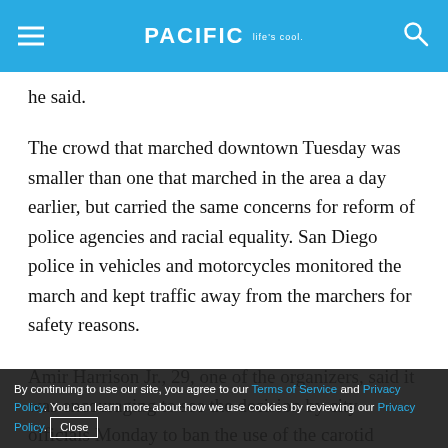PACIFIC Life's cool.
he said.
The crowd that marched downtown Tuesday was smaller than one that marched in the area a day earlier, but carried the same concerns for reform of police agencies and racial equality. San Diego police in vehicles and motorcycles monitored the march and kept traffic away from the marchers for safety reasons.
Amir Harrison Jr., 29, one of the organizers, said it was encouraging to see the decision by city officials Monday to ban the use of the carotid restraint in the city police force, and said the energy for reform can't lose
By continuing to use our site, you agree to our Terms of Service and Privacy Policy. You can learn more about how we use cookies by reviewing our Privacy Policy. Close